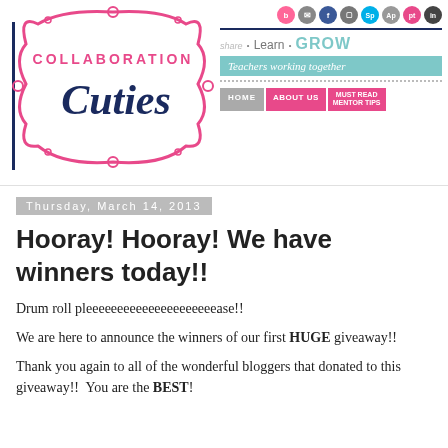[Figure (logo): Collaboration Cuties blog header logo with ornamental pink border, social media icons, 'Share Learn Grow', 'Teachers working together' banner, and navigation buttons (HOME, ABOUT US, MUST READ)]
Thursday, March 14, 2013
Hooray! Hooray! We have winners today!!
Drum roll pleeeeeeeeeeeeeeeeeeeeease!!
We are here to announce the winners of our first HUGE giveaway!!
Thank you again to all of the wonderful bloggers that donated to this giveaway!!  You are the BEST!